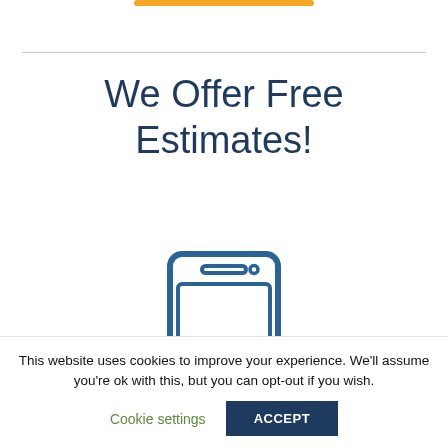We Offer Free Estimates!
[Figure (illustration): Blue outline icon of a smartphone/mobile phone]
This website uses cookies to improve your experience. We'll assume you're ok with this, but you can opt-out if you wish.
Cookie settings   ACCEPT